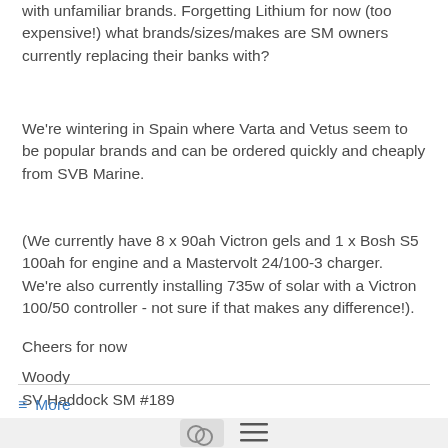with unfamiliar brands. Forgetting Lithium for now (too expensive!) what brands/sizes/makes are SM owners currently replacing their banks with?
We're wintering in Spain where Varta and Vetus seem to be popular brands and can be ordered quickly and cheaply from SVB Marine.
(We currently have 8 x 90ah Victron gels and 1 x Bosh S5 100ah for engine and a Mastervolt 24/100-3 charger. We're also currently installing 735w of solar with a Victron 100/50 controller - not sure if that makes any difference!).
Cheers for now
Woody
SV Haddock SM #189
≡ More